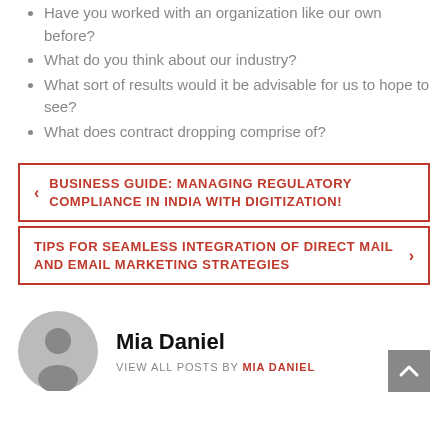Have you worked with an organization like our own before?
What do you think about our industry?
What sort of results would it be advisable for us to hope to see?
What does contract dropping comprise of?
< BUSINESS GUIDE: MANAGING REGULATORY COMPLIANCE IN INDIA WITH DIGITIZATION!
TIPS FOR SEAMLESS INTEGRATION OF DIRECT MAIL AND EMAIL MARKETING STRATEGIES >
Mia Daniel
VIEW ALL POSTS BY MIA DANIEL